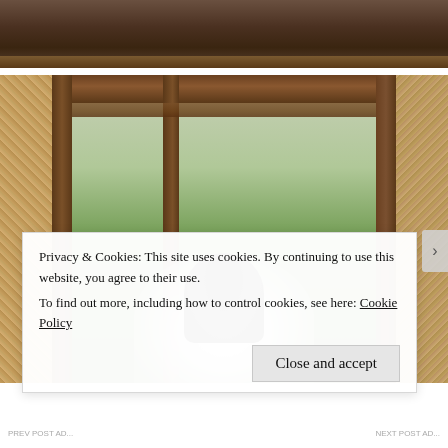[Figure (photo): Top portion of a wooden/bamboo structure interior, showing ceiling beams and roof underside in dark brown tones.]
[Figure (photo): A woman with long black hair and glasses, wearing a white t-shirt, standing inside a traditional bamboo/wood structure with woven bamboo wall panels on left and right, wooden frame beams, and lush green trees visible through the open center. The structure resembles a traditional Philippine nipa hut.]
Privacy & Cookies: This site uses cookies. By continuing to use this website, you agree to their use.
To find out more, including how to control cookies, see here: Cookie Policy
Close and accept